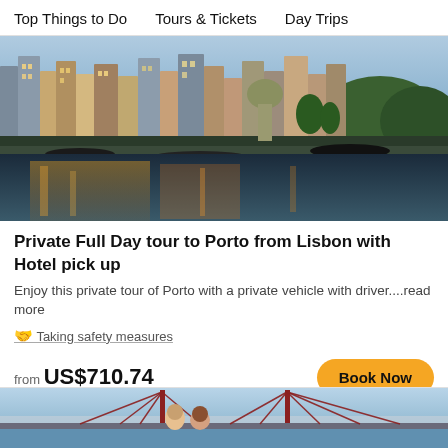Top Things to Do   Tours & Tickets   Day Trips
[Figure (photo): Aerial view of Porto cityscape along the Douro River at dusk with colorful buildings and waterfront reflections]
Private Full Day tour to Porto from Lisbon with Hotel pick up
Enjoy this private tour of Porto with a private vehicle with driver....read more
Taking safety measures
from US$710.74
[Figure (photo): Two tourists posing in front of the 25 de Abril Bridge in Lisbon with the Tagus River in the background]